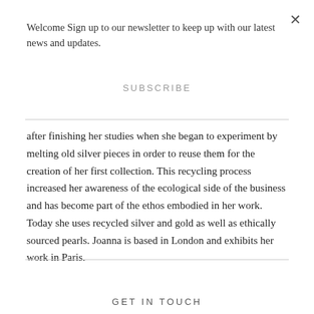Welcome Sign up to our newsletter to keep up with our latest news and updates.
SUBSCRIBE
after finishing her studies when she began to experiment by melting old silver pieces in order to reuse them for the creation of her first collection. This recycling process increased her awareness of the ecological side of the business and has become part of the ethos embodied in her work. Today she uses recycled silver and gold as well as ethically sourced pearls. Joanna is based in London and exhibits her work in Paris.
GET IN TOUCH